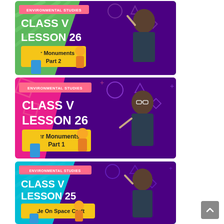[Figure (illustration): Educational video thumbnail: green and purple background, 'ENVIRONMENTAL STUDIES' banner, 'CLASS V LESSON 26' in white bold text, yellow box with 'Our Monuments Part 2', cartoon children and a teacher waving]
[Figure (illustration): Educational video thumbnail: pink/magenta and purple background, 'ENVIRONMENTAL STUDIES' banner, 'CLASS V LESSON 26' in white bold text, yellow box with 'Our Monuments Part 1', cartoon children and a female teacher gesturing]
[Figure (illustration): Educational video thumbnail: teal/cyan and purple background, 'ENVIRONMENTAL STUDIES' banner, 'CLASS V LESSON 25' in white bold text, yellow box with 'Ride On Space Craft', cartoon children and a teacher waving]